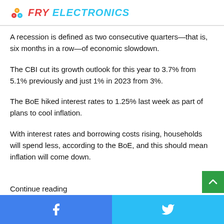FRY ELECTRONICS
A recession is defined as two consecutive quarters—that is, six months in a row—of economic slowdown.
The CBI cut its growth outlook for this year to 3.7% from 5.1% previously and just 1% in 2023 from 3%.
The BoE hiked interest rates to 1.25% last week as part of plans to cool inflation.
With interest rates and borrowing costs rising, households will spend less, according to the BoE, and this should mean inflation will come down.
Continue reading
Facebook | Twitter